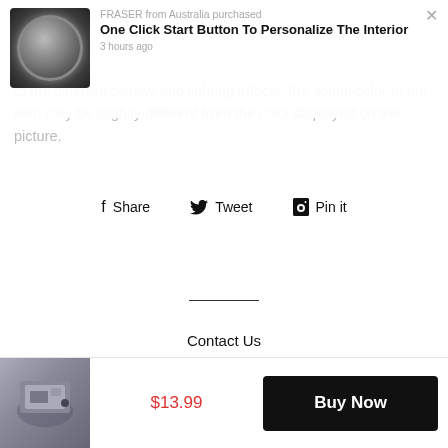[Figure (screenshot): Notification popup showing a product image (decorative button/disc), text 'FRASER from Australia purchased' faded top line, bold title 'One Click Start Button To Personalize The Interior', timestamp '3 hours ago', and an X close button]
to the different display and lighting effects, the actual color of the item may be slightly different from the color displayed on the picture.
Share  Tweet  Pin it
Contact Us
FAQ
Terms of Service
Privacy Statement
$13.99
Buy Now